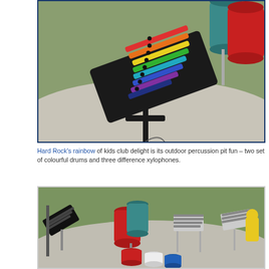[Figure (photo): Close-up photo of a colourful rainbow xylophone outdoor percussion instrument mounted on a black stand, showing multiple coloured bars (red, orange, yellow, green, blue, purple) arranged diagonally, set in an outdoor paved area with grass in the background. Additional large cylindrical drums visible in the upper right corner.]
Hard Rock's rainbow of kids club delight is its outdoor percussion pit for fun – two set of colourful drums and three difference xylophones.
[Figure (photo): Wide-angle photo of an outdoor percussion pit area showing multiple instruments: a xylophone on the left, large colourful cylindrical drums in the centre (red and teal), more xylophones in the background, coloured drum stools (red, white, blue) in the foreground, all set on a paved circular area with grass lawn in the background.]